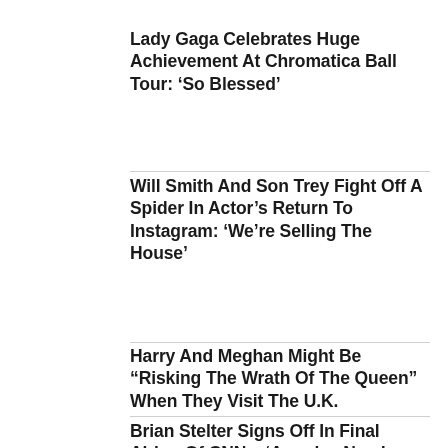Lady Gaga Celebrates Huge Achievement At Chromatica Ball Tour: ‘So Blessed’
Will Smith And Son Trey Fight Off A Spider In Actor’s Return To Instagram: ‘We’re Selling The House’
Harry And Meghan Might Be “Risking The Wrath Of The Queen” When They Visit The U.K.
Brian Stelter Signs Off In Final Airing Of CNN... ‘America Needs